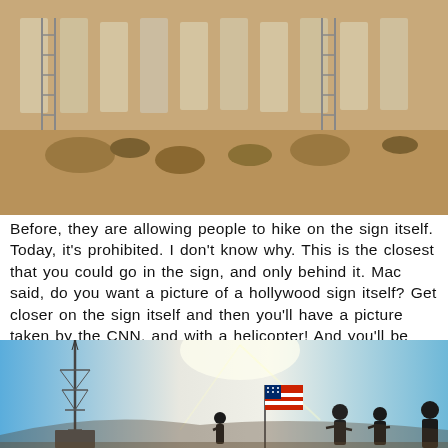[Figure (photo): Photo of the back of the Hollywood Sign letters with ladders and desert hillside vegetation visible. Sepia/warm toned image.]
Before, they are allowing people to hike on the sign itself. Today, it's prohibited. I don't know why. This is the closest that you could go in the sign, and only behind it. Mac said, do you want a picture of a hollywood sign itself? Get closer on the sign itself and then you'll have a picture taken by the CNN, and with a helicopter! And you'll be instantly famous! Haha!
[Figure (photo): Photo taken from a hilltop showing a tall broadcast tower on the left, an American flag on a pole in the center, and silhouettes of people standing against a bright blue sky. Likely taken from near the Hollywood Sign area.]